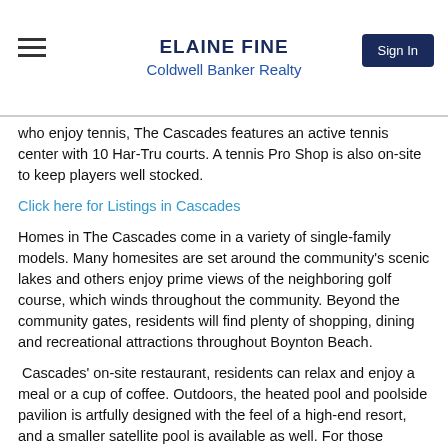ELAINE FINE
Coldwell Banker Realty
who enjoy tennis, The Cascades features an active tennis center with 10 Har-Tru courts. A tennis Pro Shop is also on-site to keep players well stocked.
Click here for Listings in Cascades
Homes in The Cascades come in a variety of single-family models. Many homesites are set around the community’s scenic lakes and others enjoy prime views of the neighboring golf course, which winds throughout the community. Beyond the community gates, residents will find plenty of shopping, dining and recreational attractions throughout Boynton Beach.
Cascades' on-site restaurant, residents can relax and enjoy a meal or a cup of coffee. Outdoors, the heated pool and poolside pavilion is artfully designed with the feel of a high-end resort, and a smaller satellite pool is available as well. For those